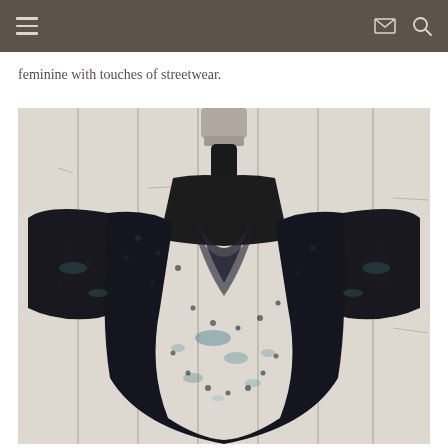[navigation bar with hamburger menu, envelope icon, search icon]
feminine with touches of streetwear.
[Figure (photo): A black sequin top/garment displayed on a mannequin torso against a white wooden plank background. The garment has a cowl neck back detail and wide sleeves covered in dark black sequins with slight iridescent blue/teal shimmer.]